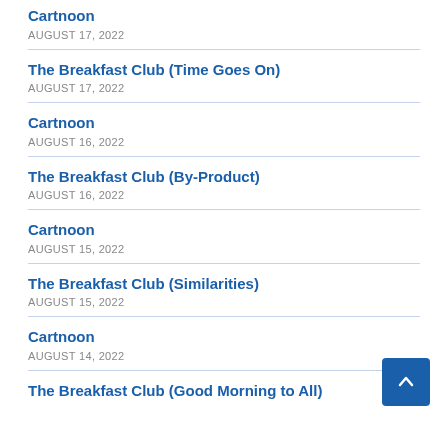Cartnoon
AUGUST 17, 2022
The Breakfast Club (Time Goes On)
AUGUST 17, 2022
Cartnoon
AUGUST 16, 2022
The Breakfast Club (By-Product)
AUGUST 16, 2022
Cartnoon
AUGUST 15, 2022
The Breakfast Club (Similarities)
AUGUST 15, 2022
Cartnoon
AUGUST 14, 2022
The Breakfast Club (Good Morning to All)